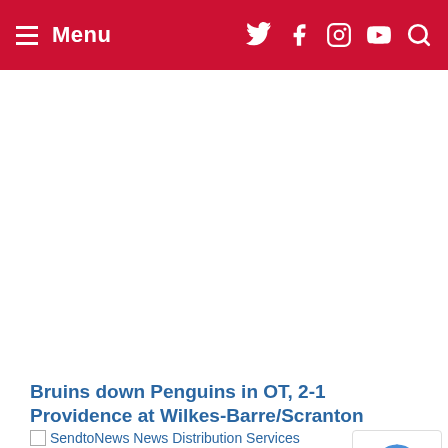Menu
Bruins down Penguins in OT, 2-1 Providence at Wilkes-Barre/Scranton
SendtoNews News Distribution Services
[Figure (logo): Providence Bruins team logo - circular gold and black design with 'P' and 'B' letters]
2